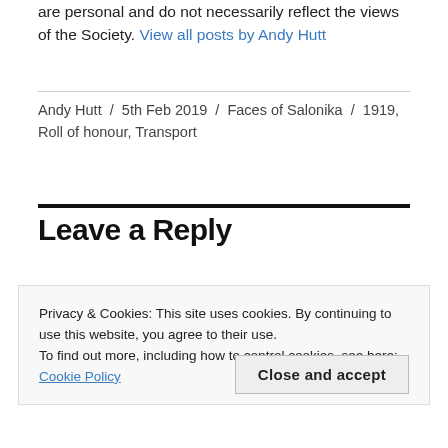are personal and do not necessarily reflect the views of the Society. View all posts by Andy Hutt
Andy Hutt / 5th Feb 2019 / Faces of Salonika / 1919, Roll of honour, Transport
Leave a Reply
Privacy & Cookies: This site uses cookies. By continuing to use this website, you agree to their use.
To find out more, including how to control cookies, see here: Cookie Policy